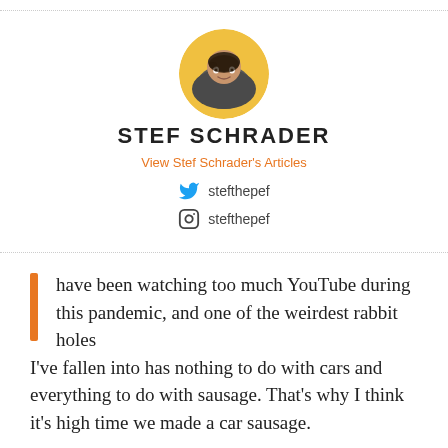[Figure (photo): Circular profile photo of Stef Schrader, a person smiling, with a yellow background]
STEF SCHRADER
View Stef Schrader's Articles
stefthepef (Twitter)
stefthepef (Instagram)
have been watching too much YouTube during this pandemic, and one of the weirdest rabbit holes I've fallen into has nothing to do with cars and everything to do with sausage. That's why I think it's high time we made a car sausage.